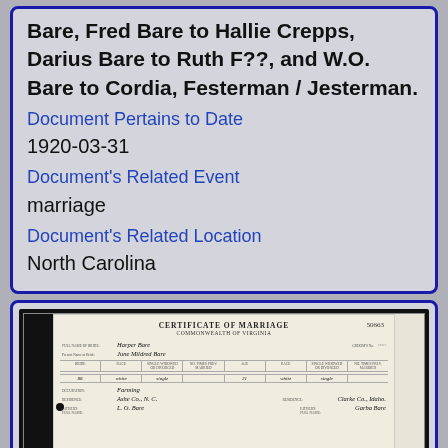Bare, Fred Bare to Hallie Crepps, Darius Bare to Ruth F??, and W.O. Bare to Cordia, Festerman / Jesterman.
Document Pertains to Date
1920-03-31
Document's Related Event
marriage
Document's Related Location
North Carolina
[Figure (photo): Scanned Certificate of Marriage document, Commonwealth of Virginia, number 50663, showing names Harper Bare and June Mildred Bare, with fields for age, race, marital status, occupation, residence showing Ashe Co. N.C. and Clarke Co. Idaho, and parent names including L.O. Bare and Garba Bare.]